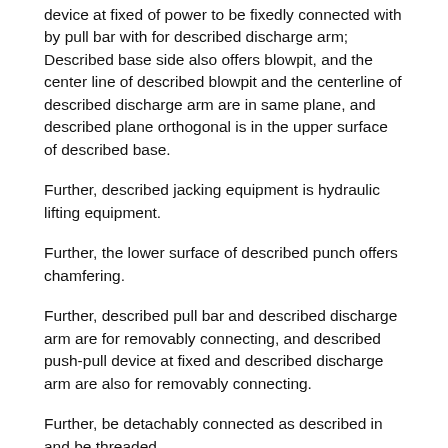device at fixed of power to be fixedly connected with by pull bar with for described discharge arm; Described base side also offers blowpit, and the center line of described blowpit and the centerline of described discharge arm are in same plane, and described plane orthogonal is in the upper surface of described base.
Further, described jacking equipment is hydraulic lifting equipment.
Further, the lower surface of described punch offers chamfering.
Further, described pull bar and described discharge arm are for removably connecting, and described push-pull device at fixed and described discharge arm are also for removably connecting.
Further, be detachably connected as described in and be threaded.
Further, described base offers the hole for installing described diel.
A kind of diel of the utility model, compared with prior art